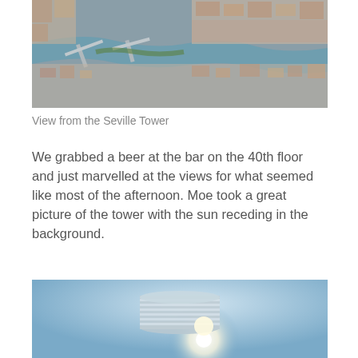[Figure (photo): Aerial view of Seville showing the Guadalquivir river with bridges and city streets with buildings]
View from the Seville Tower
We grabbed a beer at the bar on the 40th floor and just marvelled at the views for what seemed like most of the afternoon. Moe took a great picture of the tower with the sun receding in the background.
[Figure (photo): Seville Tower (Torre Sevilla) photographed against a clear blue sky with sun flare behind the cylindrical glass building]